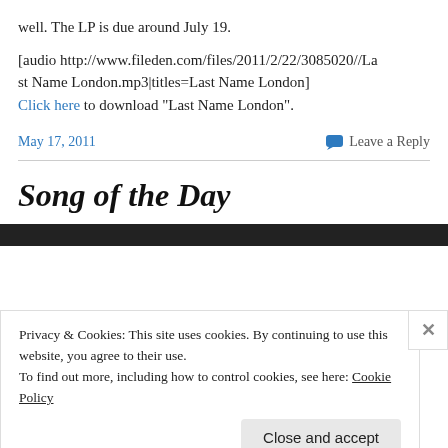well. The LP is due around July 19.
[audio http://www.fileden.com/files/2011/2/22/3085020//Last Name London.mp3|titles=Last Name London]
Click here to download “Last Name London”.
May 17, 2011
Leave a Reply
Song of the Day
Privacy & Cookies: This site uses cookies. By continuing to use this website, you agree to their use.
To find out more, including how to control cookies, see here: Cookie Policy
Close and accept